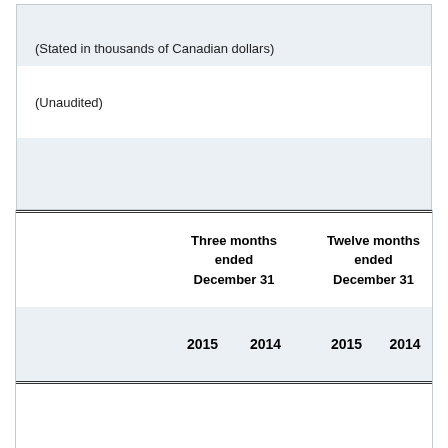(Stated in thousands of Canadian dollars)
(Unaudited)
|  | Three months ended December 31 |  | Twelve months ended December 31 |  |
| --- | --- | --- | --- | --- |
|  | 2015 | 2014 | 2015 | 2014 |
| Operating activities: |  |  |  |  |